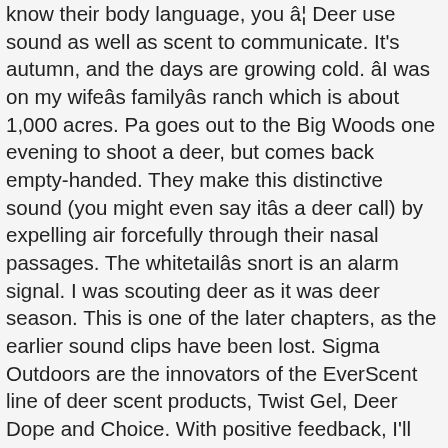know their body language, you â¦ Deer use sound as well as scent to communicate. It's autumn, and the days are growing cold. âI was on my wifeâs familyâs ranch which is about 1,000 acres. Pa goes out to the Big Woods one evening to shoot a deer, but comes back empty-handed. They make this distinctive sound (you might even say itâs a deer call) by expelling air forcefully through their nasal passages. The whitetailâs snort is an alarm signal. I was scouting deer as it was deer season. This is one of the later chapters, as the earlier sound clips have been lost. Sigma Outdoors are the innovators of the EverScent line of deer scent products, Twist Gel, Deer Dope and Choice. With positive feedback, I'll consider re-recording them, so you can enjoy the whole book. I wouldnât have guessed that in a hundred years. Stream ad-free or purchase CD's and MP3s now on Amazon.com. Most hunters are familiar with calls for deer, yet some hunters have never used deer calls out â¦ No mess, clean, easy to use, long lasting, simple to deploy deer scent. Deer can produce a wide variety of sounds, even